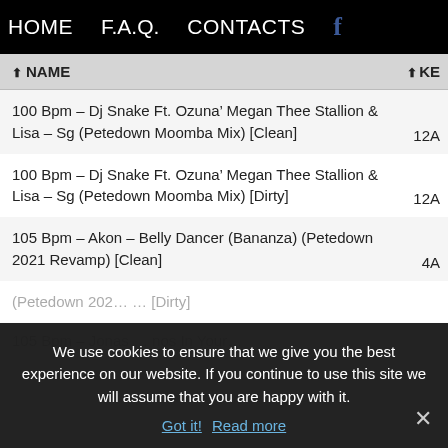HOME   F.A.Q.   CONTACTS   f
| NAME | KEY |
| --- | --- |
| 100 Bpm – Dj Snake Ft. Ozuna’ Megan Thee Stallion & Lisa – Sg (Petedown Moomba Mix) [Clean] | 12A |
| 100 Bpm – Dj Snake Ft. Ozuna’ Megan Thee Stallion & Lisa – Sg (Petedown Moomba Mix) [Dirty] | 12A |
| 105 Bpm – Akon – Belly Dancer (Bananza) (Petedown 2021 Revamp) [Clean] | 4A |
| 105 Bpm – Akon – Belly Dancer (Bananza) (Petedown 2021 Revamp) [Dirty] |  |
| 105 Bpm – Jonas ... nos In Your ... |  |
We use cookies to ensure that we give you the best experience on our website. If you continue to use this site we will assume that you are happy with it.
Got it!  Read more